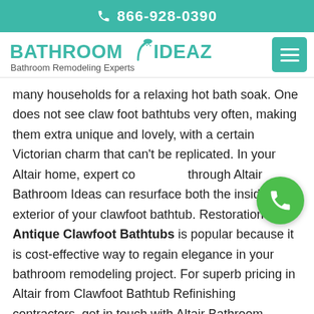866-928-0390
[Figure (logo): Bathroom Ideaz logo with shower head icon and tagline 'Bathroom Remodeling Experts']
many households for a relaxing hot bath soak. One does not see claw foot bathtubs very often, making them extra unique and lovely, with a certain Victorian charm that can't be replicated. In your Altair home, expert co[ntractors] through Altair Bathroom Ideas can resurface both the inside and exterior of your clawfoot bathtub. Restoration of Antique Clawfoot Bathtubs is popular because it is cost-effective way to regain elegance in your bathroom remodeling project. For superb pricing in Altair from Clawfoot Bathtub Refinishing contractors, get in touch with Altair Bathroom Ideaz's experts today.